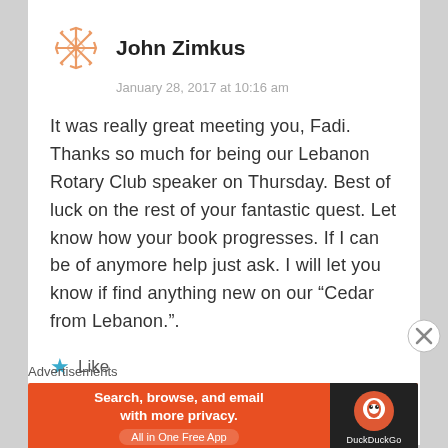[Figure (logo): Orange decorative avatar/icon with geometric snowflake-like pattern]
John Zimkus
January 28, 2017 at 10:16 am
It was really great meeting you, Fadi. Thanks so much for being our Lebanon Rotary Club speaker on Thursday. Best of luck on the rest of your fantastic quest. Let know how your book progresses. If I can be of anymore help just ask. I will let you know if find anything new on our “Cedar from Lebanon.”.
★ Like
Reply
Advertisements
[Figure (illustration): DuckDuckGo advertisement banner: orange background with text 'Search, browse, and email with more privacy. All in One Free App' and DuckDuckGo logo on dark background]